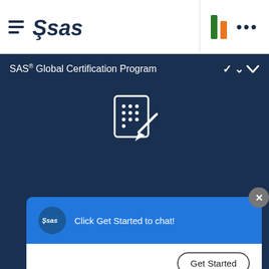[Figure (logo): SAS logo with hamburger menu icon in top navigation bar]
SAS® Global Certification Program
[Figure (screenshot): SAS certification exam registration interface with a chat popup saying 'Click Get Started to chat!' and a Get Started button, plus calendar icon showing 31 and Exam Day label]
Click Get Started to chat!
Get Started
Exam Day